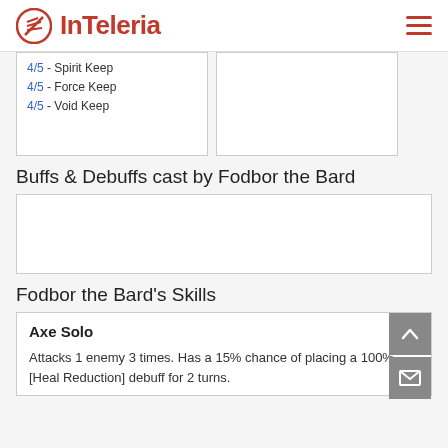InTeleria
4/5 - Spirit Keep
4/5 - Force Keep
4/5 - Void Keep
Buffs & Debuffs cast by Fodbor the Bard
[Figure (other): Empty content box for Buffs & Debuffs]
Fodbor the Bard's Skills
Axe Solo
Attacks 1 enemy 3 times. Has a 15% chance of placing a 100% [Heal Reduction] debuff for 2 turns.